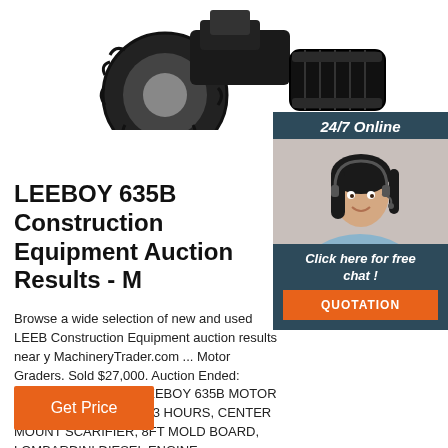[Figure (photo): Tractor / construction equipment with large rubber tires and tracks visible on white background]
[Figure (infographic): 24/7 Online chat widget with woman wearing headset, 'Click here for free chat!' text and orange QUOTATION button]
LEEBOY 635B Construction Equipment Auction Results - M
Browse a wide selection of new and used LEEBOY 635B Construction Equipment auction results near you at MachineryTrader.com ... Motor Graders. Sold $27,000. Auction Ended: September 01, 2021. LEEBOY 635B MOTOR GRADER, S/N 114, 3173 HOURS, CENTER MOUNT SCARIFIER, 8FT MOLD BOARD, LOMBARDINI DIESEL ENGINE, HYDROSTATIC TRANS ...
[Figure (other): Orange 'Get Price' button]